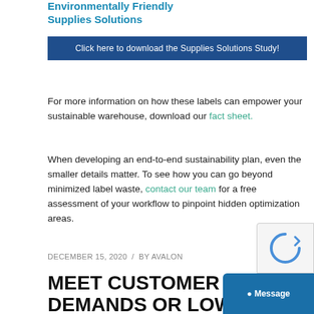Environmentally Friendly Supplies Solutions
[Figure (other): Blue banner with text: Click here to download the Supplies Solutions Study!]
For more information on how these labels can empower your sustainable warehouse, download our fact sheet.
When developing an end-to-end sustainability plan, even the smaller details matter. To see how you can go beyond minimized label waste, contact our team for a free assessment of your workflow to pinpoint hidden optimization areas.
DECEMBER 15, 2020 / BY AVALON
MEET CUSTOMER DEMANDS OR LOWER TCO? SEE HOW SUSTAINABLE WAREHOUSING DOES